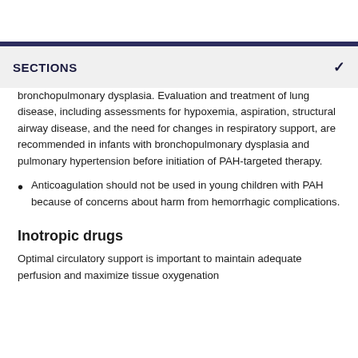SECTIONS
bronchopulmonary dysplasia. Evaluation and treatment of lung disease, including assessments for hypoxemia, aspiration, structural airway disease, and the need for changes in respiratory support, are recommended in infants with bronchopulmonary dysplasia and pulmonary hypertension before initiation of PAH-targeted therapy.
Anticoagulation should not be used in young children with PAH because of concerns about harm from hemorrhagic complications.
Inotropic drugs
Optimal circulatory support is important to maintain adequate perfusion and maximize tissue oxygenation